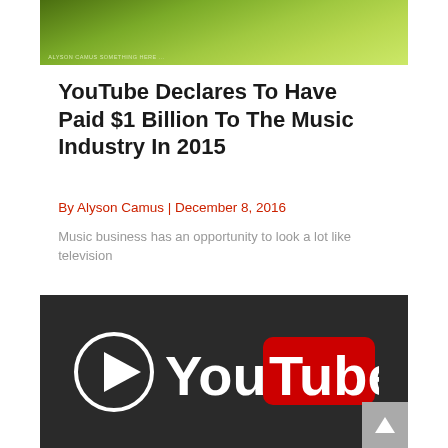[Figure (photo): Outdoor nature/garden photo showing green foliage and plants]
YouTube Declares To Have Paid $1 Billion To The Music Industry In 2015
By Alyson Camus | December 8, 2016
Music business has an opportunity to look a lot like television
[Figure (logo): YouTube logo on dark background: white circle play button with triangle, 'You' in white text, 'Tube' in white text on red rounded rectangle pill]